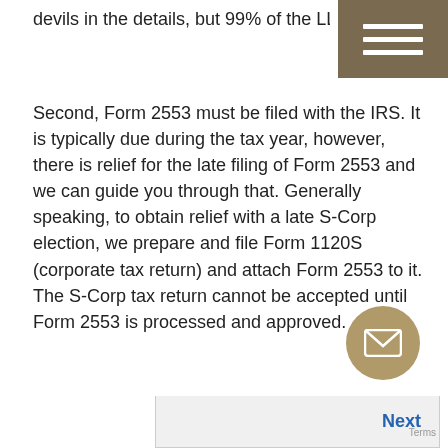devils in the details, but 99% of the LLCs out there qu...
Second, Form 2553 must be filed with the IRS. It is typically due during the tax year, however, there is relief for the late filing of Form 2553 and we can guide you through that. Generally speaking, to obtain relief with a late S-Corp election, we prepare and file Form 1120S (corporate tax return) and attach Form 2553 to it. The S-Corp tax return cannot be accepted until Form 2553 is processed and approved.
Of course we can take care of all this paperwork for you!
Previous
Estimated Tax Payments, Withholdin
Next